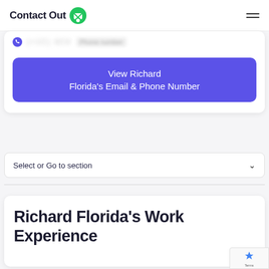ContactOut
(+1C) 4C0 Phone number
View Richard Florida's Email & Phone Number
Select or Go to section
Richard Florida's Work Experience